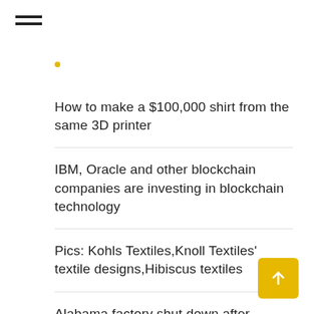☰
How to make a $100,000 shirt from the same 3D printer
IBM, Oracle and other blockchain companies are investing in blockchain technology
Pics: Kohls Textiles,Knoll Textiles' textile designs,Hibiscus textiles
Alabama factory shut down after supplier says workers are not paid
When is the best time to start making a new piece of clothing?